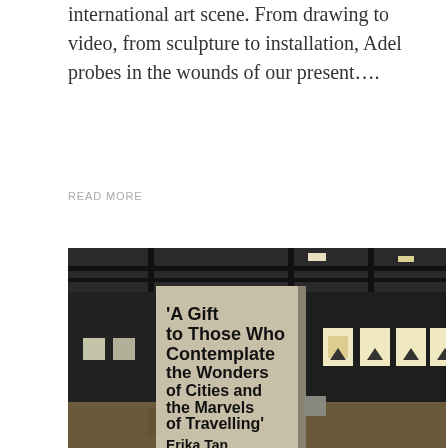international art scene. From drawing to video, from sculpture to installation, Adel probes in the wounds of our present….
READ MORE
[Figure (photo): Gallery interior showing a large freestanding panel with bold black text reading 'A Gift to Those Who Contemplate the Wonders of Cities and the Marvels of Travelling' by Erika Tan and Mio Shirai. The background shows a dark gallery with illuminated artworks on the walls.]